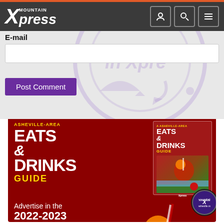Mountain Xpress
E-mail
Post Comment
[Figure (screenshot): Advertisement for Asheville-Area Eats & Drinks Guide 2022-2023 print guide. Text reads: ASHEVILLE-AREA EATS & DRINKS GUIDE. Advertise in the 2022-2023 print guide. Contact advertise@... Shows a magazine cover mockup and a drink photo.]